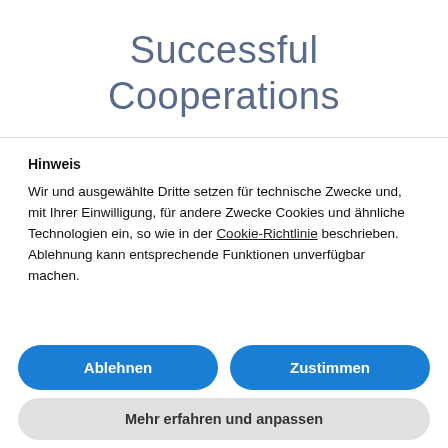Successful Cooperations
Hinweis
Wir und ausgewählte Dritte setzen für technische Zwecke und, mit Ihrer Einwilligung, für andere Zwecke Cookies und ähnliche Technologien ein, so wie in der Cookie-Richtlinie beschrieben. Ablehnung kann entsprechende Funktionen unverfügbar machen.
Ablehnen
Zustimmen
Mehr erfahren und anpassen